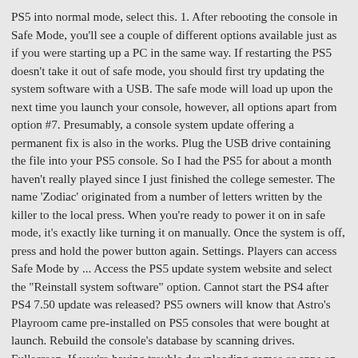PS5 into normal mode, select this. 1. After rebooting the console in Safe Mode, you'll see a couple of different options available just as if you were starting up a PC in the same way. If restarting the PS5 doesn't take it out of safe mode, you should first try updating the system software with a USB. The safe mode will load up upon the next time you launch your console, however, all options apart from option #7. Presumably, a console system update offering a permanent fix is also in the works. Plug the USB drive containing the file into your PS5 console. So I had the PS5 for about a month haven't really played since I just finished the college semester. The name 'Zodiac' originated from a number of letters written by the killer to the local press. When you're ready to power it on in safe mode, it's exactly like turning it on manually. Once the system is off, press and hold the power button again. Settings. Players can access Safe Mode by ... Access the PS5 update system website and select the "Reinstall system software" option. Cannot start the PS4 after PS4 7.50 update was released? PS5 owners will know that Astro's Playroom came pre-installed on PS5 consoles that were bought at launch. Rebuild the console's database by scanning drives. Fullscreen. If you're having trouble downloading games or apps on your new PS5, try starting up in safe mode and rebuilding the database, which PlayStation Support suggests in a tweet. Hi all. So I just got my PS5. Start the PS5 console in Safe Mode...